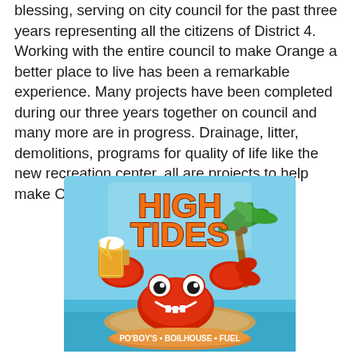blessing, serving on city council for the past three years representing all the citizens of District 4. Working with the entire council to make Orange a better place to live has been a remarkable experience. Many projects have been completed during our three years together on council and many more are in progress. Drainage, litter, demolitions, programs for quality of life like the new recreation center, all are projects to help make Orange the best place to live.
[Figure (logo): High Tides restaurant logo featuring a cartoon red crab holding a mug of beer on a tropical island with a palm tree. Text reads 'HIGH TIDES' in large orange letters with 'PO'BOY'S • BOILHOUSE • FUEL' on a banner at the bottom.]